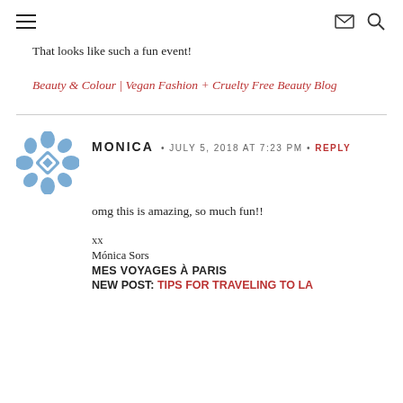≡  ✉ 🔍
That looks like such a fun event!
Beauty & Colour | Vegan Fashion + Cruelty Free Beauty Blog
MONICA · JULY 5, 2018 AT 7:23 PM · REPLY
omg this is amazing, so much fun!!
xx
Mónica Sors
MES VOYAGES À PARIS
NEW POST: TIPS FOR TRAVELING TO LA